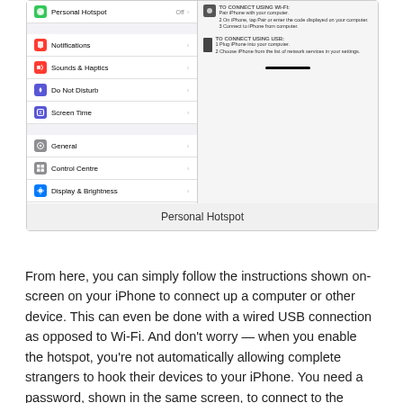[Figure (screenshot): iPhone Settings screen showing Personal Hotspot option at top with Off state, and other settings items: Notifications, Sounds & Haptics, Do Not Disturb, Screen Time, General, Control Centre, Display & Brightness. Right panel shows instructions for connecting via Wi-Fi and USB. Caption below reads 'Personal Hotspot'.]
Personal Hotspot
From here, you can simply follow the instructions shown on-screen on your iPhone to connect up a computer or other device. This can even be done with a wired USB connection as opposed to Wi-Fi. And don’t worry — when you enable the hotspot, you’re not automatically allowing complete strangers to hook their devices to your iPhone. You need a password, shown in the same screen, to connect to the hotspot.